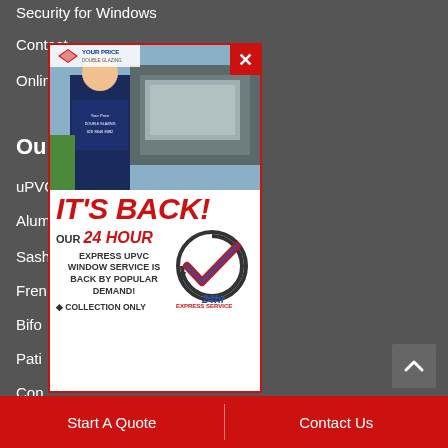Contact
Online Quote
Our Products
uPVC Windows & Doors
Aluminium
Sash
French
Bifold
Patio
Composite
Bay
[Figure (infographic): Popup advertisement showing a worker in a 'Your Price' branded shirt, with bold text reading IT'S BACK! OUR 24 HOUR EXPRESS UPVC WINDOW SERVICE IS BACK BY POPULAR DEMAND! COLLECTION ONLY, and a 24hr Express Service badge/logo. The popup has a red X close button in the top right corner and the Your Price logo in top left.]
Start A Quote
Contact Us